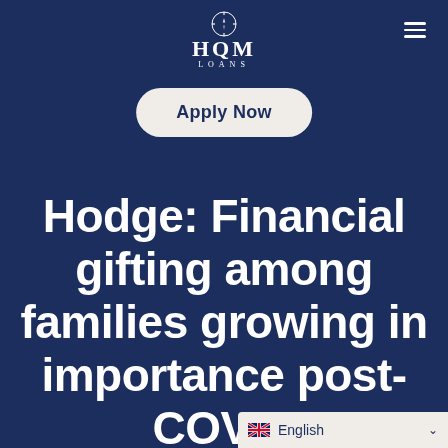[Figure (logo): HOM LOANS logo with compass/anchor icon above text on dark navy background]
Apply Now
Hodge: Financial gifting among families growing in importance post-COVID
English